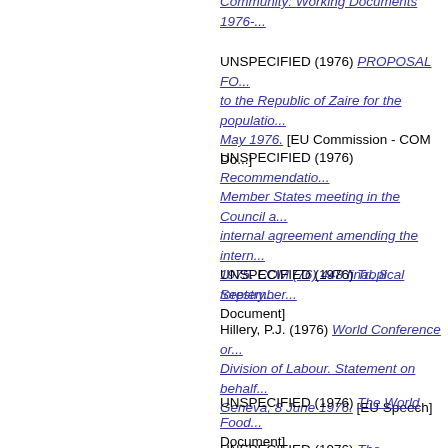UNSPECIFIED (1976) Community: Working Documents 1976-... [EU Commission - COM Document]
UNSPECIFIED (1976) PROPOSAL FOR... to the Republic of Zaire for the population... May 1976. [EU Commission - COM Document]
UNSPECIFIED (1976) Recommendation... Member States meeting in the Council a... internal agreement amending the intern... 1975. COM (76) 448 final, 8 September... [Document]
UNSPECIFIED (1976) Tropical forestry... [Document]
Hillery, P.J. (1976) World Conference on... Division of Labour. Statement on behalf... Geneva, 8 June 1976. [EU Speech]
UNSPECIFIED (1976) The World Food... [Document]
UNSPECIFIED (1976) The bicentennial...